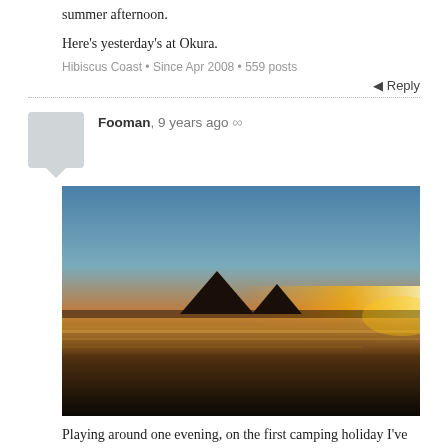summer afternoon.
Here's yesterday's at Okura.
Hibiscus Coast • Since Apr 2008 • 559 posts
Reply
Fooman, 9 years ago ∞
[Figure (photo): Sunset beach photo showing a dramatic orange and red sky over a dark beach with a mountain silhouette in the background, taken at Okura.]
Playing around one evening, on the first camping holiday I've had in over 20 years.
FM